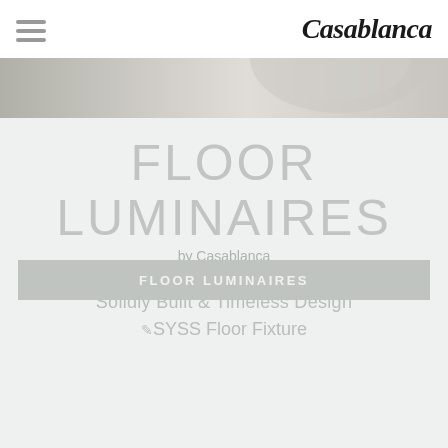Casablanca
[Figure (illustration): Decorative banner image with neutral grey-beige tones showing ceiling or lighting fixture details]
FLOOR LUMINAIRES
by Casablanca
Solidly Built & Timeless Design
SYSS Floor Fixture
FLOOR LUMINAIRES